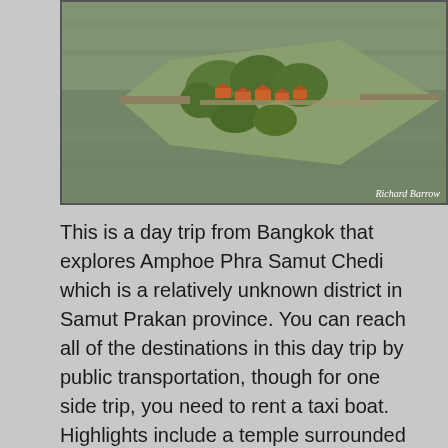[Figure (photo): Aerial photograph of a temple complex on a small island or peninsula surrounded by water, with orange-roofed buildings and trees. Photo credit: Richard Barrow.]
This is a day trip from Bangkok that explores Amphoe Phra Samut Chedi which is a relatively unknown district in Samut Prakan province. You can reach all of the destinations in this day trip by public transportation, though for one side trip, you need to rent a taxi boat. Highlights include a temple surrounded by the sea, a reclining pagoda, a 120 year old fortress, a mangrove forest walk with monkeys, a royal navy ship, and an island in the Chao Phraya River populated with hundreds of fruit bats.